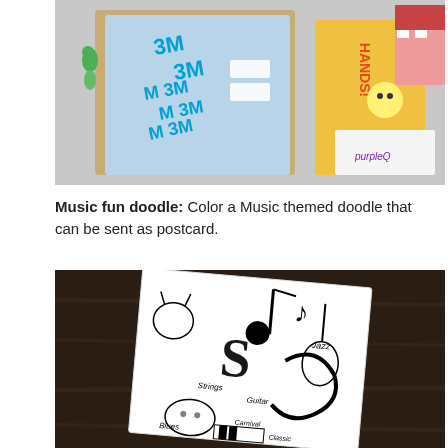[Figure (photo): Photo of children's educational materials including sticker books and activity books on a wooden surface, featuring colorful characters and 3M branded stickers, with a 'purpleQ' branded book visible]
Music fun doodle: Color a Music themed doodle that can be sent as postcard.
[Figure (photo): Photo of a music-themed black and white doodle card on a dark wooden surface, featuring musical notes, guitars, the word 'Guitar', 'Strings', various music-related doodle elements including faces, 'Jazz', 'Blues', piano keys, and other music instruments drawn in black ink on white card]